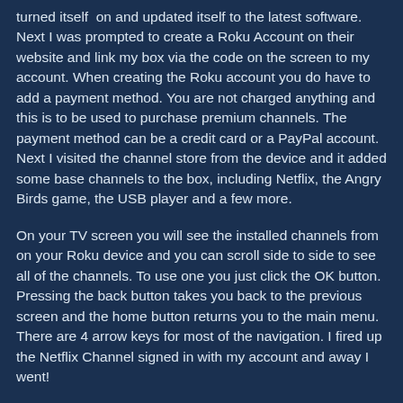turned itself on and updated itself to the latest software. Next I was prompted to create a Roku Account on their website and link my box via the code on the screen to my account. When creating the Roku account you do have to add a payment method. You are not charged anything and this is to be used to purchase premium channels. The payment method can be a credit card or a PayPal account. Next I visited the channel store from the device and it added some base channels to the box, including Netflix, the Angry Birds game, the USB player and a few more.
On your TV screen you will see the installed channels from on your Roku device and you can scroll side to side to see all of the channels. To use one you just click the OK button. Pressing the back button takes you back to the previous screen and the home button returns you to the main menu. There are 4 arrow keys for most of the navigation. I fired up the Netflix Channel signed in with my account and away I went!
Like I said they do have a Channel Store on the device and many of the apps are free. Unfortunately there are not